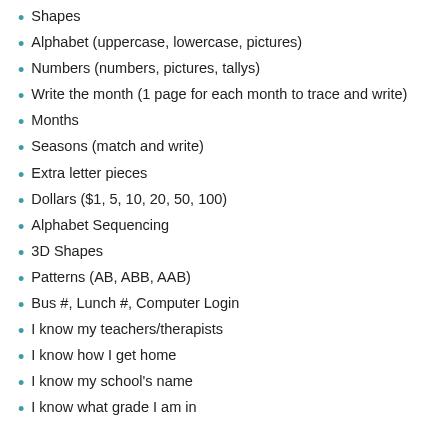Shapes
Alphabet (uppercase, lowercase, pictures)
Numbers (numbers, pictures, tallys)
Write the month (1 page for each month to trace and write)
Months
Seasons (match and write)
Extra letter pieces
Dollars ($1, 5, 10, 20, 50, 100)
Alphabet Sequencing
3D Shapes
Patterns (AB, ABB, AAB)
Bus #, Lunch #, Computer Login
I know my teachers/therapists
I know how I get home
I know my school's name
I know what grade I am in
LOOKING FOR MORE
You'll find more Early Intervention Workpages here.
Also available in Spanish